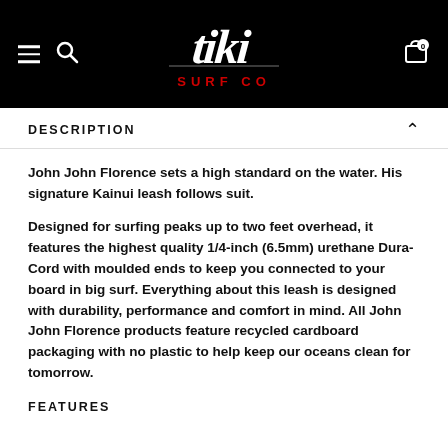[Figure (logo): Tiki Surf Co logo — white handwritten 'tiki' text with 'SURF CO' in red below, on black background. Navigation icons: hamburger menu left, search icon, cart icon with badge '0' on right.]
DESCRIPTION
John John Florence sets a high standard on the water. His signature Kainui leash follows suit.
Designed for surfing peaks up to two feet overhead, it features the highest quality 1/4-inch (6.5mm) urethane Dura-Cord with moulded ends to keep you connected to your board in big surf. Everything about this leash is designed with durability, performance and comfort in mind. All John John Florence products feature recycled cardboard packaging with no plastic to help keep our oceans clean for tomorrow.
FEATURES